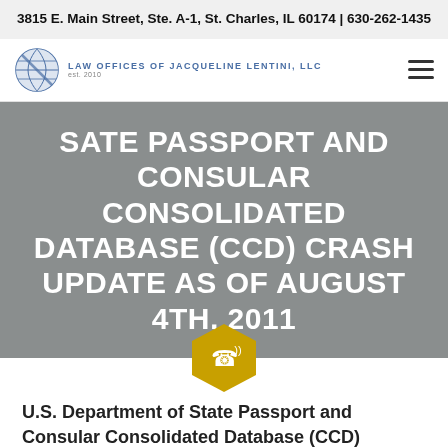3815 E. Main Street, Ste. A-1, St. Charles, IL 60174 | 630-262-1435
[Figure (logo): Law Offices of Jacqueline Lentini, LLC logo with circular globe icon and text]
SATE PASSPORT AND CONSULAR CONSOLIDATED DATABASE (CCD) CRASH UPDATE AS OF AUGUST 4TH, 2011
U.S. Department of State Passport and Consular Consolidated Database (CCD)